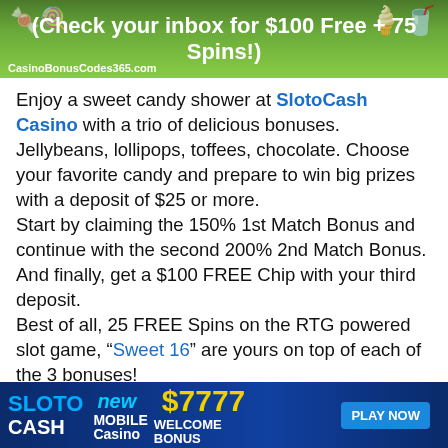[Figure (illustration): Green candy-themed promotional banner with text '(Check your inbox for $100 Free + 75 Spins!)' and CasinoBonusCodes365.com logo]
Enjoy a sweet candy shower at SlotoCash Casino with a trio of delicious bonuses. Jellybeans, lollipops, toffees, chocolate. Choose your favorite candy and prepare to win big prizes with a deposit of $25 or more.
Start by claiming the 150% 1st Match Bonus and continue with the second 200% 2nd Match Bonus.
And finally, get a $100 FREE Chip with your third deposit.
Best of all, 25 FREE Spins on the RTG powered slot game, “Sweet 16” are yours on top of each of the 3 bonuses!
[Figure (illustration): SlotoCash Casino dark blue promotional banner with '$7777 WELCOME BONUS' and 'new MOBILE Casino' text and 'PLAY NOW' button]